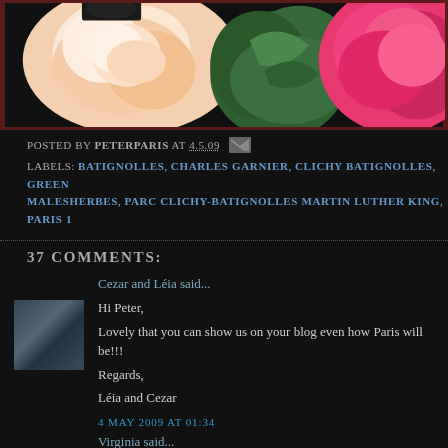[Figure (photo): Flower photo strip showing white/peach roses on left, green leaves in center, and pink flowers on right against dark background]
POSTED BY PETERPARIS AT 4.5.09 [email icon]
LABELS: BATIGNOLLES, CHARLES GARNIER, CLICHY BATIGNOLLES, GREEN MALESHERBES, PARC CLICHY-BATIGNOLLES MARTIN LUTHER KING, PARIS 1
37 COMMENTS:
Cezar and Léia said...
Hi Peter,
Lovely that you can show us on your blog even how Paris will be!!!
Regards,
Léia and Cezar
4 MAY 2009 AT 01:34
Virginia said...
Peter,